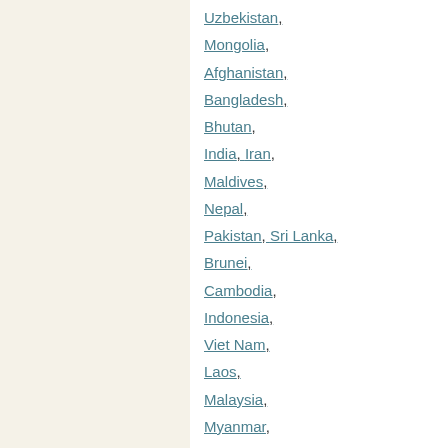Uzbekistan,
Mongolia,
Afghanistan,
Bangladesh,
Bhutan,
India, Iran,
Maldives,
Nepal,
Pakistan, Sri Lanka,
Brunei,
Cambodia,
Indonesia,
Viet Nam,
Laos,
Malaysia,
Myanmar,
Thailand,
Timor-Leste,
Philippines,
Armenia,